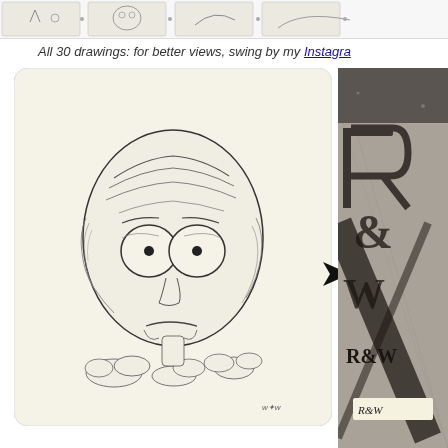[Figure (illustration): Top strip showing small thumbnail sketches of drawings in a row]
All 30 drawings: for better views, swing by my Instagra…
[Figure (illustration): Ink drawing on cream card of a moon-like face with large round eyes, wrinkled brow, small nose and sad mouth, floating above clouds. Artist signature at bottom right.]
[Figure (photo): Partial photograph of a grey cardboard or paper texture with large stencilled or cut-out letters reading 'R&W' and an angled letter X or similar, partially visible on right side of page.]